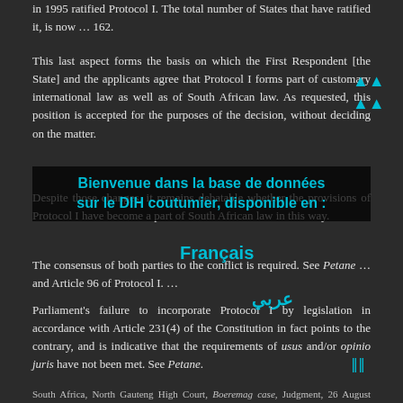in 1995 ratified Protocol I. The total number of States that have ratified it, is now ... 162.
This last aspect forms the basis on which the First Respondent [the State] and the applicants agree that Protocol I forms part of customary international law as well as of South African law. As requested, this position is accepted for the purposes of the decision, without deciding on the matter.
Despite those changes, it remains debatable whether the provisions of Protocol I have become a part of South African law in this way.
The consensus of both parties to the conflict is required. See Petane ... and Article 96 of Protocol I. ...
Parliament's failure to incorporate Protocol I by legislation in accordance with Article 231(4) of the Constitution in fact points to the contrary, and is indicative that the requirements of usus and/or opinio juris have not been met. See Petane.
South Africa, North Gauteng High Court, Boeremag case, Judgment, 26 August 2010, pp. 21-22.
[footnotes in original omitted]
The Court also held:
If the [1977 Additional Protocol I] applies in South Africa as
[Figure (infographic): Overlay: Welcome banner for the customary IHL database in multiple languages: Français, عربي, English, Español]